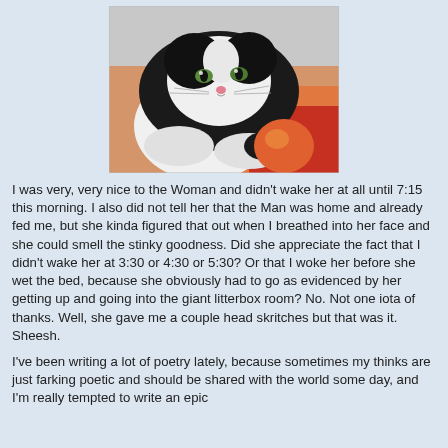[Figure (photo): A black and white cat resting its chin on its paws, with an orange/red fuzzy object nearby. The cat has striking green eyes and a pink nose.]
I was very, very nice to the Woman and didn't wake her at all until 7:15 this morning. I also did not tell her that the Man was home and already fed me, but she kinda figured that out when I breathed into her face and she could smell the stinky goodness. Did she appreciate the fact that I didn't wake her at 3:30 or 4:30 or 5:30? Or that I woke her before she wet the bed, because she obviously had to go as evidenced by her getting up and going into the giant litterbox room? No. Not one iota of thanks. Well, she gave me a couple head skritches but that was it. Sheesh.
I've been writing a lot of poetry lately, because sometimes my thinks are just farking poetic and should be shared with the world some day, and I'm really tempted to write an epic